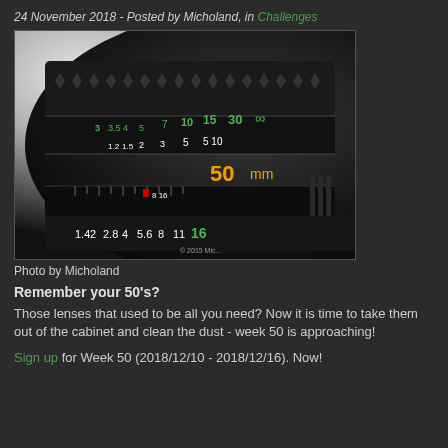24 November 2018 - Posted by Micholand, in Challenges
[Figure (photo): Close-up photograph of a 50mm camera lens showing the focus ring, depth-of-field scale with green and white numbers, aperture ring with markings 1.4 2 2.8 4 5.6 8 11 16, the 50mm label in orange, and a red dot indicator. Copyright 2015 Micholand watermark visible.]
Photo by Micholand
Remember your 50's?
Those lenses that used to be all you need? Now it is time to take them out of the cabinet and clean the dust - week 50 is approaching!
Sign up for Week 50 (2018/12/10 - 2018/12/16). Now!